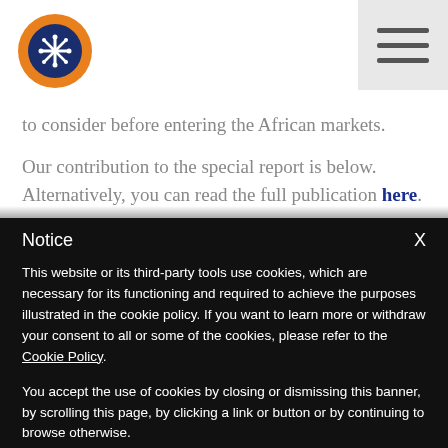[Figure (logo): Circular logo with orange outer ring and dark blue inner circle containing a white snowflake/star icon]
to consider before entering the African markets.
Our contribution to the special report is below. Alternatively, you can read the full publication here.
Notice
This website or its third-party tools use cookies, which are necessary for its functioning and required to achieve the purposes illustrated in the cookie policy. If you want to learn more or withdraw your consent to all or some of the cookies, please refer to the Cookie Policy.
You accept the use of cookies by closing or dismissing this banner, by scrolling this page, by clicking a link or button or by continuing to browse otherwise.